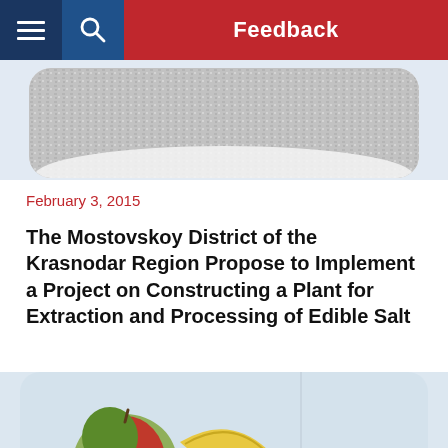Feedback
[Figure (photo): Top portion of a bowl or plate containing what appears to be salt or grain, with rounded container edges visible against a light blue-gray background]
February 3, 2015
The Mostovskoy District of the Krasnodar Region Propose to Implement a Project on Constructing a Plant for Extraction and Processing of Edible Salt
[Figure (photo): Bottom portion of image showing fruits including apples, bananas and a lemon/citrus fruit on a plate or tray, partially visible]